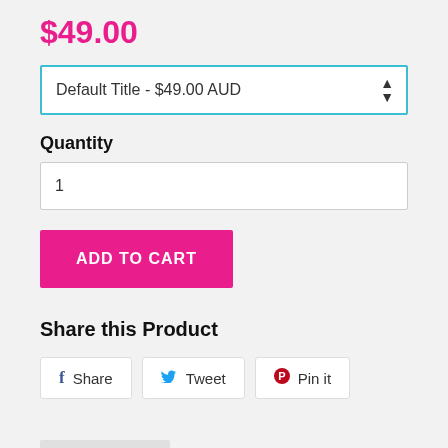$49.00
Default Title - $49.00 AUD
Quantity
1
ADD TO CART
Share this Product
Share
Tweet
Pin it